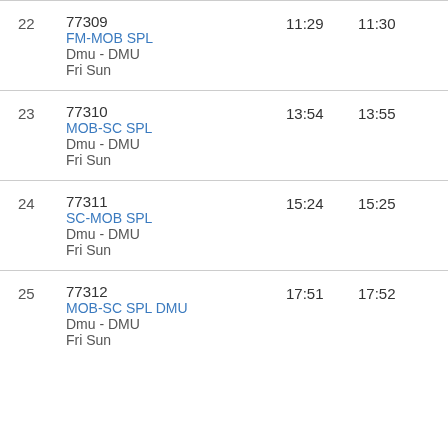| # | Train | Arr | Dep |
| --- | --- | --- | --- |
| 22 | 77309
FM-MOB SPL
Dmu - DMU
Fri Sun | 11:29 | 11:30 |
| 23 | 77310
MOB-SC SPL
Dmu - DMU
Fri Sun | 13:54 | 13:55 |
| 24 | 77311
SC-MOB SPL
Dmu - DMU
Fri Sun | 15:24 | 15:25 |
| 25 | 77312
MOB-SC SPL DMU
Dmu - DMU
Fri Sun | 17:51 | 17:52 |